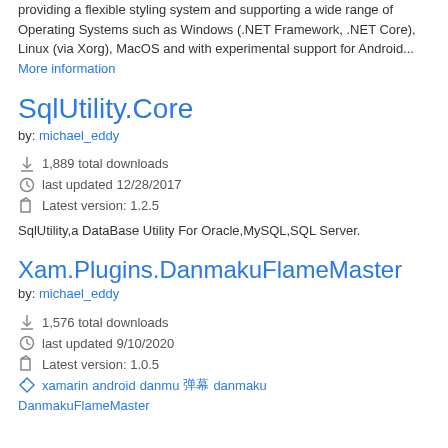providing a flexible styling system and supporting a wide range of Operating Systems such as Windows (.NET Framework, .NET Core), Linux (via Xorg), MacOS and with experimental support for Android... More information
SqlUtility.Core
by: michael_eddy
1,889 total downloads
last updated 12/28/2017
Latest version: 1.2.5
SqlUtility,a DataBase Utility For Oracle,MySQL,SQL Server.
Xam.Plugins.DanmakuFlameMaster
by: michael_eddy
1,576 total downloads
last updated 9/10/2020
Latest version: 1.0.5
xamarin android danmu 弹幕 danmaku DanmakuFlameMaster